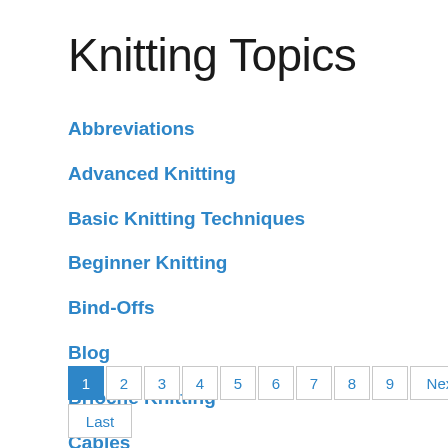Knitting Topics
Abbreviations
Advanced Knitting
Basic Knitting Techniques
Beginner Knitting
Bind-Offs
Blog
Brioche Knitting
Cables
1 2 3 4 5 6 7 8 9 Next Last